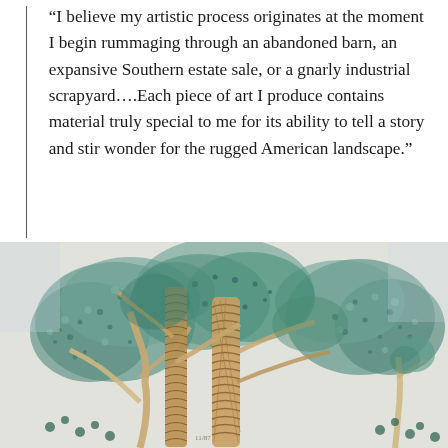"I believe my artistic process originates at the moment I begin rummaging through an abandoned barn, an expansive Southern estate sale, or a gnarly industrial scrapyard….Each piece of art I produce contains material truly special to me for its ability to tell a story and stir wonder for the rugged American landscape."
[Figure (illustration): A colorful mixed-media collage artwork depicting trees with textured, patterned trunks in browns and tans, surrounded by blue-green foliage rendered in a spiky, layered style against a pale background.]